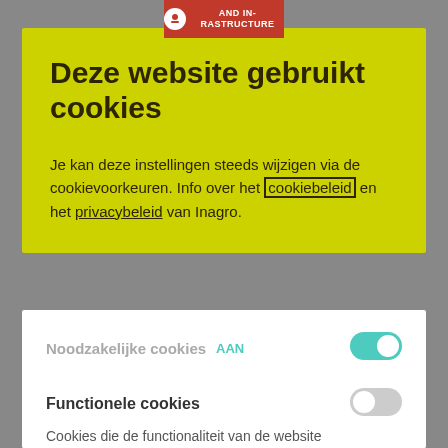[Figure (logo): Red banner at top with white text 'AND INFRASTRUCTURE' and circular icon]
Deze website gebruikt cookies
Je kan deze instellingen steeds wijzigen via de cookievoorkeuren. Info over het cookiebeleid en het privacybeleid van Inagro.
Noodzakelijke cookies AAN
Cookies die noodzakelijk zijn voor de normale werking van de website.
Functionele cookies
Cookies die de functionaliteit van de website bel...